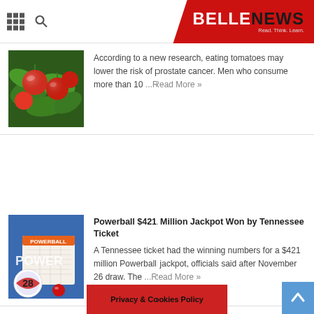BELLENEWS Read. Think. Learn.
[Figure (photo): Tomatoes on vine with green leaves]
According to a new research, eating tomatoes may lower the risk of prostate cancer. Men who consume more than 10 ...Read More »
Powerball $421 Million Jackpot Won by Tennessee Ticket
[Figure (photo): Powerball lottery balls and ticket with number 28 visible]
A Tennessee ticket had the winning numbers for a $421 million Powerball jackpot, officials said after November 26 draw. The ...Read More »
Privacy & Cookies Policy